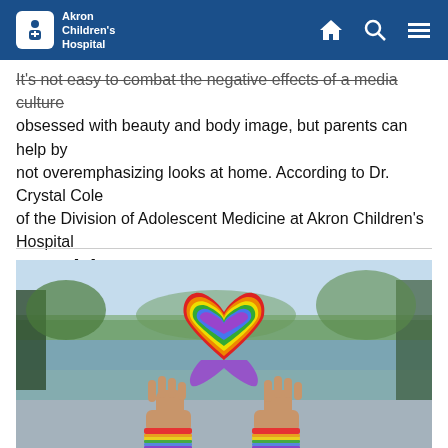Akron Children's Hospital
It's not easy to combat the negative effects of a media culture obsessed with beauty and body image, but parents can help by not overemphasizing looks at home. According to Dr. Crystal Cole of the Division of Adolescent Medicine at Akron Children's Hospital parents [...]
[Figure (photo): Two hands holding up a rainbow pride heart shape cutout against a blurred outdoor background with trees and water. The person is wearing rainbow wristbands.]